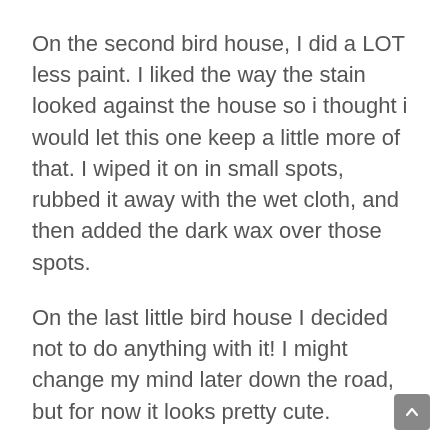On the second bird house, I did a LOT less paint. I liked the way the stain looked against the house so i thought i would let this one keep a little more of that. I wiped it on in small spots, rubbed it away with the wet cloth, and then added the dark wax over those spots.
On the last little bird house I decided not to do anything with it! I might change my mind later down the road, but for now it looks pretty cute.